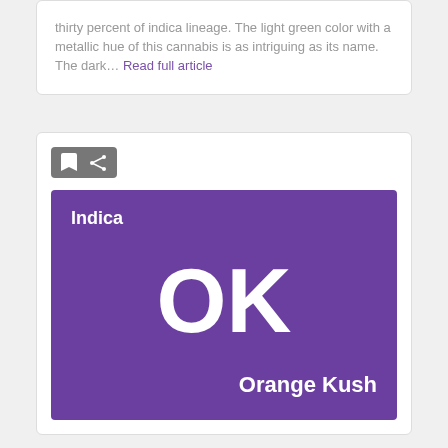thirty percent of indica lineage. The light green color with a metallic hue of this cannabis is as intriguing as its name. The dark… Read full article
[Figure (illustration): Purple square card showing 'Indica' at top left, large 'OK' initials in the center, and 'Orange Kush' at bottom right, all in white text on a purple background.]